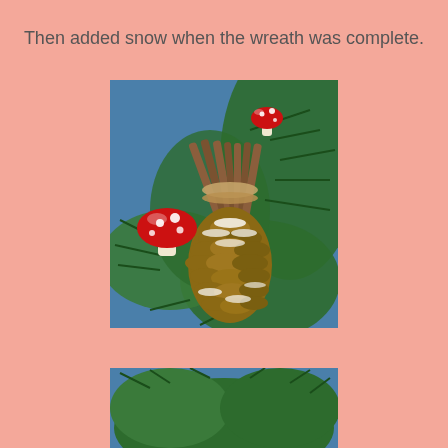Then added snow when the wreath was complete.
[Figure (photo): Close-up photo of a Christmas wreath detail showing green fir branches, a large pine cone with white snow tips, a bundle of twigs tied with twine, and two red mushroom ornaments with white spots (toadstool style), against a blue background.]
[Figure (photo): Partial photo of the same Christmas wreath showing green fir branches and the beginning of a blue background, cropped at the bottom of the page.]